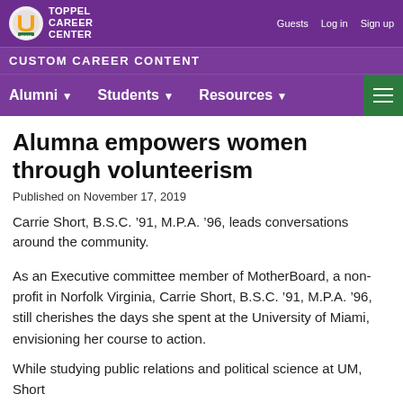TOPPEL CAREER CENTER — CUSTOM CAREER CONTENT
Alumna empowers women through volunteerism
Published on November 17, 2019
Carrie Short, B.S.C. ‘91, M.P.A. ‘96, leads conversations around the community.
As an Executive committee member of MotherBoard, a non-profit in Norfolk Virginia, Carrie Short, B.S.C. ‘91, M.P.A. ‘96, still cherishes the days she spent at the University of Miami, envisioning her course to action.
While studying public relations and political science at UM, Short